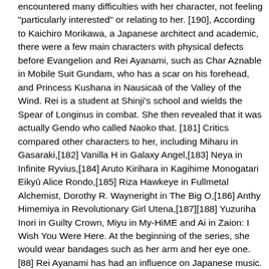encountered many difficulties with her character, not feeling "particularly interested" or relating to her. [190], According to Kaichiro Morikawa, a Japanese architect and academic, there were a few main characters with physical defects before Evangelion and Rei Ayanami, such as Char Aznable in Mobile Suit Gundam, who has a scar on his forehead, and Princess Kushana in Nausicaä of the Valley of the Wind. Rei is a student at Shinji's school and wields the Spear of Longinus in combat. She then revealed that it was actually Gendo who called Naoko that. [181] Critics compared other characters to her, including Miharu in Gasaraki,[182] Vanilla H in Galaxy Angel,[183] Neya in Infinite Ryvius,[184] Aruto Kirihara in Kagihime Monogatari Eikyū Alice Rondo,[185] Riza Hawkeye in Fullmetal Alchemist, Dorothy R. Wayneright in The Big O,[186] Anthy Himemiya in Revolutionary Girl Utena,[187][188] Yuzuriha Inori in Guilty Crown, Miyu in My-HiME and Ai in Zaion: I Wish You Were Here. At the beginning of the series, she would wear bandages such as her arm and her eye one. [88] Rei Ayanami has had an influence on Japanese music. [38] Her body with albino-like traits was created in absolute secrecy from the salvaged remains of Yui Ikari,[39] a brilliant researcher who lost her life in a testing experiment by Evangelion Unit 01. [192] Singer and guitarist Motoo Fujiwara wrote the lyrics of the song Arue taking inspiration from Rei, with the English title R.A. inspired by the initials letter of her